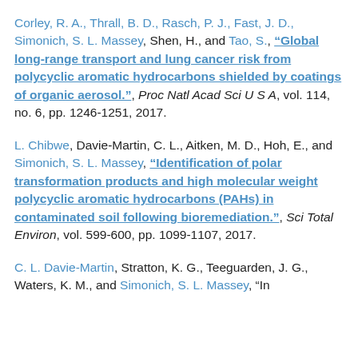Corley, R. A., Thrall, B. D., Rasch, P. J., Fast, J. D., Simonich, S. L. Massey, Shen, H., and Tao, S., "Global long-range transport and lung cancer risk from polycyclic aromatic hydrocarbons shielded by coatings of organic aerosol.", Proc Natl Acad Sci U S A, vol. 114, no. 6, pp. 1246-1251, 2017.
L. Chibwe, Davie-Martin, C. L., Aitken, M. D., Hoh, E., and Simonich, S. L. Massey, "Identification of polar transformation products and high molecular weight polycyclic aromatic hydrocarbons (PAHs) in contaminated soil following bioremediation.", Sci Total Environ, vol. 599-600, pp. 1099-1107, 2017.
C. L. Davie-Martin, Stratton, K. G., Teeguarden, J. G., Waters, K. M., and Simonich, S. L. Massey, "...